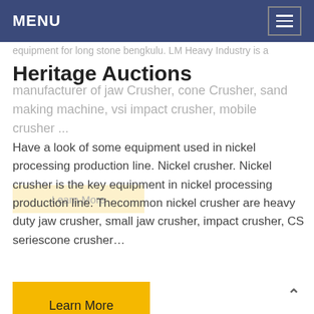MENU
Heritage Auctions
equipment for long stone bengkulu. LM Heavy Industry is a manufacturer of jaw Crusher, cone Crusher, sand making machine, vsi impact crusher, mobile crusher ...
Have a look of some equipment used in nickel processing production line. Nickel crusher. Nickel crusher is the key equipment in nickel processing production line. Thecommon nickel crusher are heavy duty jaw crusher, small jaw crusher, impact crusher, CS seriescone crusher…
Learn More
Learn More